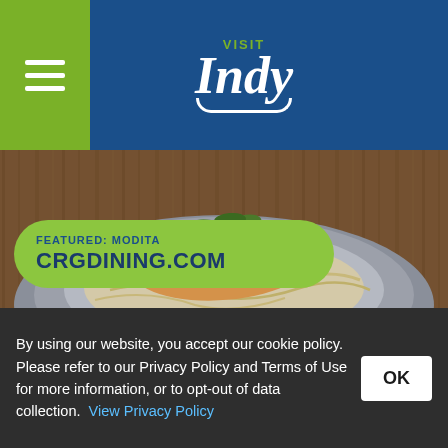[Figure (logo): Visit Indy logo — white italic 'Indy' text with green 'VISIT' label above and white arch underline, on dark blue background. Green hamburger menu icon on left.]
[Figure (photo): Food photo: seared fish fillet with red spice crust and microgreens on a round gray stone bowl, with noodle and vegetable salad underneath, on a wooden surface.]
FEATURED: MODITA
CRGDINING.COM
By using our website, you accept our cookie policy. Please refer to our Privacy Policy and Terms of Use for more information, or to opt-out of data collection. View Privacy Policy OK